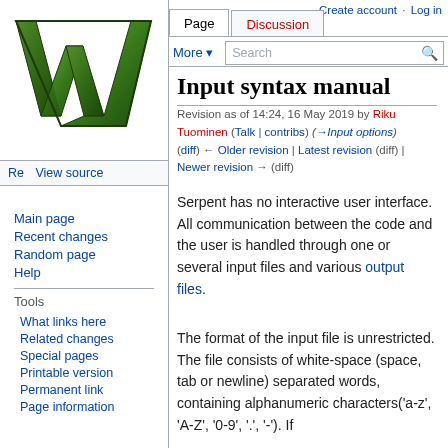Create account  Log in
[Figure (logo): Wikipedia logo — large decorative green and black letter W]
Re  View source  More ▾  [Search bar]
Page  Discussion
Input syntax manual
Revision as of 14:24, 16 May 2019 by Riku Tuominen (Talk | contribs) (→Input options) (diff) ← Older revision | Latest revision (diff) | Newer revision → (diff)
Main page
Recent changes
Random page
Help
Tools
What links here
Related changes
Special pages
Printable version
Permanent link
Page information
Serpent has no interactive user interface. All communication between the code and the user is handled through one or several input files and various output files.
The format of the input file is unrestricted. The file consists of white-space (space, tab or newline) separated words, containing alphanumeric characters('a-z', 'A-Z', '0-9', '.', '-'). If